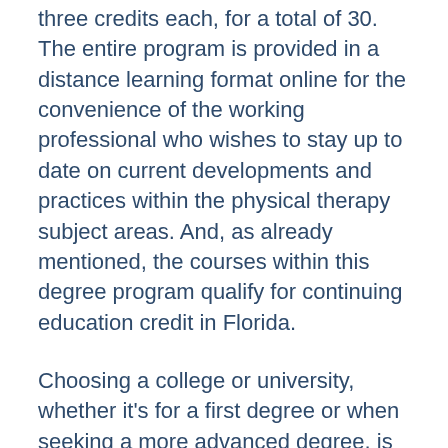three credits each, for a total of 30. The entire program is provided in a distance learning format online for the convenience of the working professional who wishes to stay up to date on current developments and practices within the physical therapy subject areas. And, as already mentioned, the courses within this degree program qualify for continuing education credit in Florida.
Choosing a college or university, whether it's for a first degree or when seeking a more advanced degree, is an important decision for any prospective student. A highly populated state like Florida offers a diverse range of options